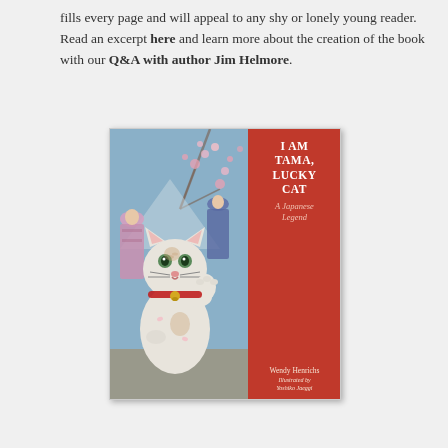fills every page and will appeal to any shy or lonely young reader. Read an excerpt here and learn more about the creation of the book with our Q&A with author Jim Helmore.
[Figure (illustration): Book cover of 'I Am Tama, Lucky Cat: A Japanese Legend' by Wendy Henrichs, illustrated by Yoshiko Jaeggi. The left side shows a painted illustration of a white cat with raised paw in the maneki-neko pose, wearing a red collar with a bell, with women in kimonos and cherry blossoms in the background. The right side is a red panel with white text showing the title and author information.]
I Am Tama, Lucky Cat
A Japanese Legend
Written by Wendy Henrichs